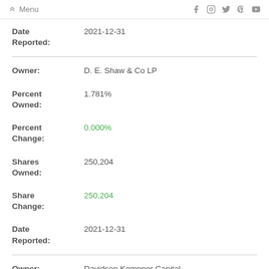Menu
Date Reported: 2021-12-31
Owner: D. E. Shaw & Co LP
Percent Owned: 1.781%
Percent Change: 0.000%
Shares Owned: 250,204
Share Change: 250,204
Date Reported: 2021-12-31
Owner: Davidson Kempner Capital